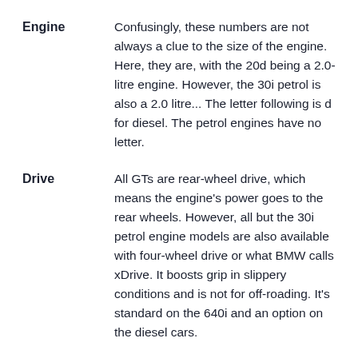Engine — Confusingly, these numbers are not always a clue to the size of the engine. Here, they are, with the 20d being a 2.0-litre engine. However, the 30i petrol is also a 2.0 litre... The letter following is d for diesel. The petrol engines have no letter.
Drive — All GTs are rear-wheel drive, which means the engine's power goes to the rear wheels. However, all but the 30i petrol engine models are also available with four-wheel drive or what BMW calls xDrive. It boosts grip in slippery conditions and is not for off-roading. It's standard on the 640i and an option on the diesel cars.